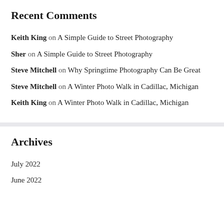Recent Comments
Keith King on A Simple Guide to Street Photography
Sher on A Simple Guide to Street Photography
Steve Mitchell on Why Springtime Photography Can Be Great
Steve Mitchell on A Winter Photo Walk in Cadillac, Michigan
Keith King on A Winter Photo Walk in Cadillac, Michigan
Archives
July 2022
June 2022